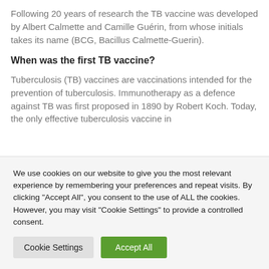Following 20 years of research the TB vaccine was developed by Albert Calmette and Camille Guérin, from whose initials takes its name (BCG, Bacillus Calmette-Guerin).
When was the first TB vaccine?
Tuberculosis (TB) vaccines are vaccinations intended for the prevention of tuberculosis. Immunotherapy as a defence against TB was first proposed in 1890 by Robert Koch. Today, the only effective tuberculosis vaccine in
We use cookies on our website to give you the most relevant experience by remembering your preferences and repeat visits. By clicking "Accept All", you consent to the use of ALL the cookies. However, you may visit "Cookie Settings" to provide a controlled consent.